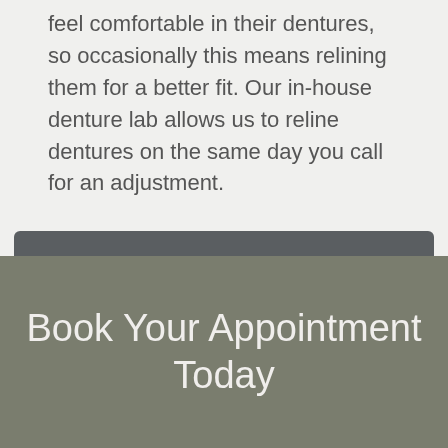feel comfortable in their dentures, so occasionally this means relining them for a better fit. Our in-house denture lab allows us to reline dentures on the same day you call for an adjustment.
Read more about Same Day Denture Relines
Book Your Appointment Today